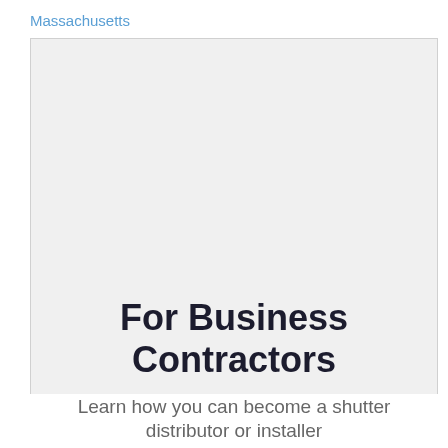Massachusetts
[Figure (other): Large gray image/banner placeholder area taking up most of the upper portion of the content box]
For Business Contractors
Learn how you can become a shutter distributor or installer